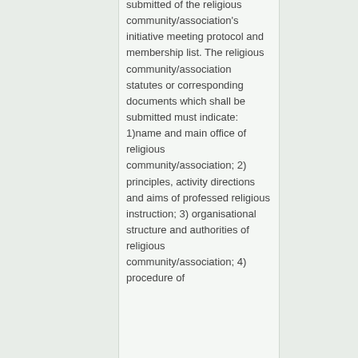submitted of the religious community/association's initiative meeting protocol and membership list. The religious community/association statutes or corresponding documents which shall be submitted must indicate: 1)name and main office of religious community/association; 2) principles, activity directions and aims of professed religious instruction; 3) organisational structure and authorities of religious community/association; 4) procedure of